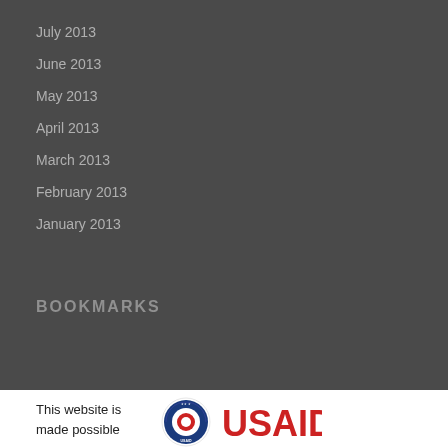July 2013
June 2013
May 2013
April 2013
March 2013
February 2013
January 2013
BOOKMARKS
This website is made possible
[Figure (logo): USAID logo with circular emblem and text]